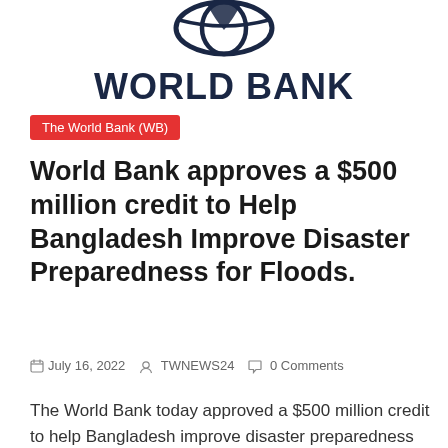[Figure (logo): World Bank logo — globe icon above bold text WORLD BANK in dark navy]
The World Bank (WB)
World Bank approves a $500 million credit to Help Bangladesh Improve Disaster Preparedness for Floods.
📅 July 16, 2022  👤 TWNEWS24  💬 0 Comments
The World Bank today approved a $500 million credit to help Bangladesh improve disaster preparedness against inland flooding in 14
Read more
[Figure (photo): Partially visible photo strip at bottom of page showing people in colorful traditional clothing]